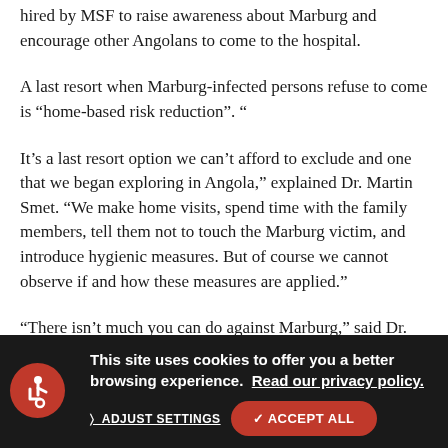hired by MSF to raise awareness about Marburg and encourage other Angolans to come to the hospital.
A last resort when Marburg-infected persons refuse to come is “home-based risk reduction”. “
It’s a last resort option we can’t afford to exclude and one that we began exploring in Angola,” explained Dr. Martin Smet. “We make home visits, spend time with the family members, tell them not to touch the Marburg victim, and introduce hygienic measures. But of course we cannot observe if and how these measures are applied.”
“There isn’t much you can do against Marburg,” said Dr. Sprecher, “so you have to keep an open mind and be creative with a limited arsenal of tools.”
But what also matters is using these limited tools with sensitivity - as Mesi’ description of how MSF enters houses illustrates: